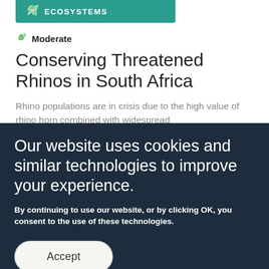ECOSYSTEMS
Moderate
Conserving Threatened Rhinos in South Africa
Rhino populations are in crisis due to the high value of rhino horn combined with widespread
Our website uses cookies and similar technologies to improve your experience.
By continuing to use our website, or by clicking OK, you consent to the use of these technologies.
Accept